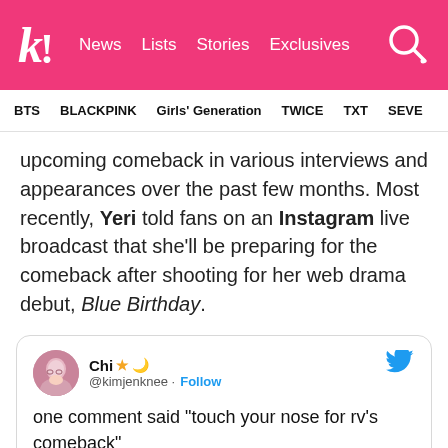k! News Lists Stories Exclusives
BTS BLACKPINK Girls' Generation TWICE TXT SEVE
upcoming comeback in various interviews and appearances over the past few months. Most recently, Yeri told fans on an Instagram live broadcast that she'll be preparing for the comeback after shooting for her web drama debut, Blue Birthday.
Chi ⭐ @kimjenknee · Follow
one comment said “touch your nose for rv's comeback”

so yeri touched her nose